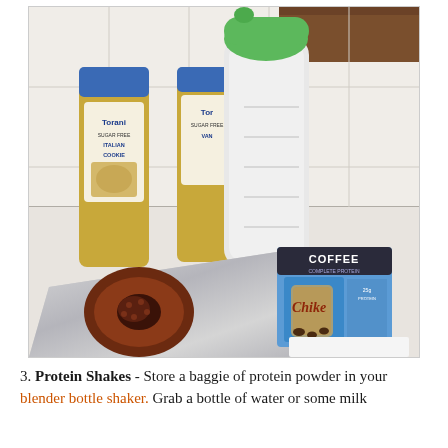[Figure (photo): A photo showing a green-lidded blender bottle shaker, two Torani syrup bottles (Sugar Free Italian Cookie and Sugar Free Vanilla flavors), a Chike Coffee Protein packet, a half-eaten donut or food item wrapped in foil, all arranged on a white tiled countertop.]
3. Protein Shakes - Store a baggie of protein powder in your blender bottle shaker. Grab a bottle of water or some milk